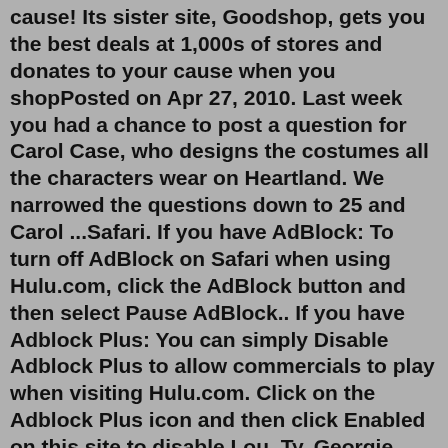cause! Its sister site, Goodshop, gets you the best deals at 1,000s of stores and donates to your cause when you shopPosted on Apr 27, 2010. Last week you had a chance to post a question for Carol Case, who designs the costumes all the characters wear on Heartland. We narrowed the questions down to 25 and Carol ...Safari. If you have AdBlock: To turn off AdBlock on Safari when using Hulu.com, click the AdBlock button and then select Pause AdBlock.. If you have Adblock Plus: You can simply Disable Adblock Plus to allow commercials to play when visiting Hulu.com. Click on the Adblock Plus icon and then click Enabled on this site to disable.Lou, Ty, Georgie, and even Amy all have their moments. As does Jack with his relationship with Lisa. But, as far as my most hated character goes, it's a tie between Tim and Peter. Tim whines too much and is so self-centered, and Peter just sucks as a dad and husband and has the audacity to blame his absences on Lou. 1. A fabric empire shade caps this sconce and diffuses the light from a 60W bulb (not included) throughout your